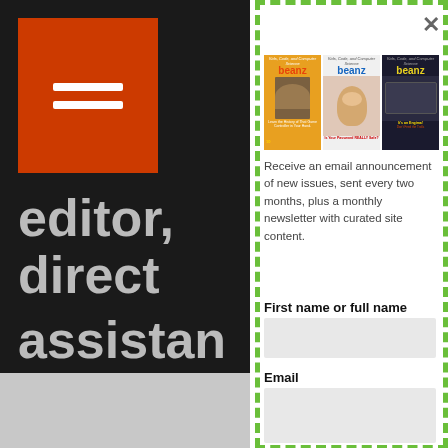[Figure (screenshot): Background page showing dark left sidebar with orange hamburger menu icon, and partially visible large gray text reading 'editor, direct, assistan']
[Figure (screenshot): Modal popup overlay with green dashed border showing three Beanz magazine covers (Kids, Code, and Computer Science), a close (X) button, subscription text, and a form with First name and Email fields]
Receive an email announcement of new issues, sent every two months, plus a monthly newsletter with curated site content.
First name or full name
Email